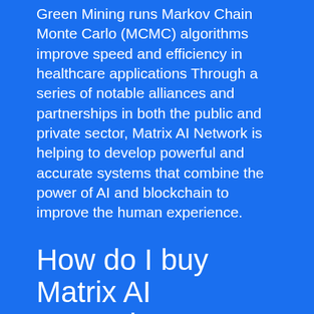Green Mining runs Markov Chain Monte Carlo (MCMC) algorithms improve speed and efficiency in healthcare applications Through a series of notable alliances and partnerships in both the public and private sector, Matrix AI Network is helping to develop powerful and accurate systems that combine the power of AI and blockchain to improve the human experience.
How do I buy Matrix AI Network?
1. Deposit funds into your account.
2. Enter the amount of Matrix AI Network (or Australian Dollar